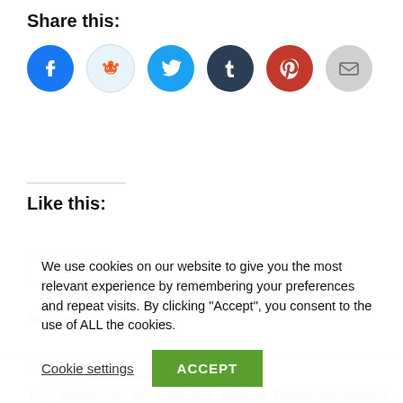Share this:
[Figure (infographic): Row of social sharing icon buttons: Facebook (blue circle), Reddit (light blue circle with alien mascot), Twitter (blue circle), Tumblr (dark navy circle), Pinterest (red circle), Email (gray circle with envelope)]
Like this:
[Figure (other): Like button with star icon and text 'Like']
Be the first to like this.
Category: Uncategorized
Tags: amazing art, Art, Artist, cute, drawing, friendly, girl, hillgrove,
We use cookies on our website to give you the most relevant experience by remembering your preferences and repeat visits. By clicking “Accept”, you consent to the use of ALL the cookies.
Cookie settings   ACCEPT